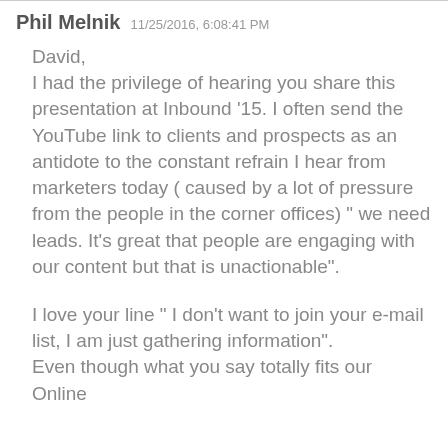Phil Melnik  11/25/2016, 6:08:41 PM
David,
I had the privilege of hearing you share this presentation at Inbound '15. I often send the YouTube link to clients and prospects as an antidote to the constant refrain I hear from marketers today ( caused by a lot of pressure from the people in the corner offices) " we need leads. It's great that people are engaging with our content but that is unactionable".
I love your line " I don't want to join your e-mail list, I am just gathering information".
Even though what you say totally fits our Online